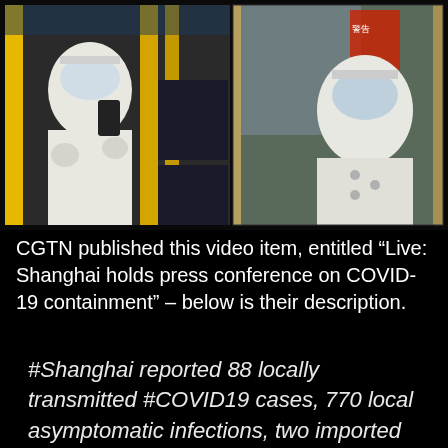[Figure (photo): Two photos side by side inside a bus. Left photo: a person in full white PPE protective suit and face shield, holding a phone on a yellow-railed bus. Right photo: another person in white PPE suit and face shield standing near the bus door from outside.]
CGTN published this video item, entitled “Live: Shanghai holds press conference on COVID-19 containment” – below is their description.
#Shanghai reported 88 locally transmitted #COVID19 cases, 770 local asymptomatic infections, two imported cases, three imported